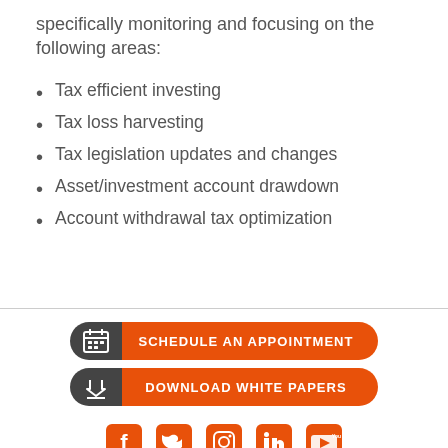specifically monitoring and focusing on the following areas:
Tax efficient investing
Tax loss harvesting
Tax legislation updates and changes
Asset/investment account drawdown
Account withdrawal tax optimization
[Figure (infographic): Orange pill-shaped button with dark calendar icon and text SCHEDULE AN APPOINTMENT]
[Figure (infographic): Orange pill-shaped button with dark download icon and text DOWNLOAD WHITE PAPERS]
[Figure (infographic): Row of social media icons: Facebook, Twitter, Instagram, LinkedIn, YouTube in orange]